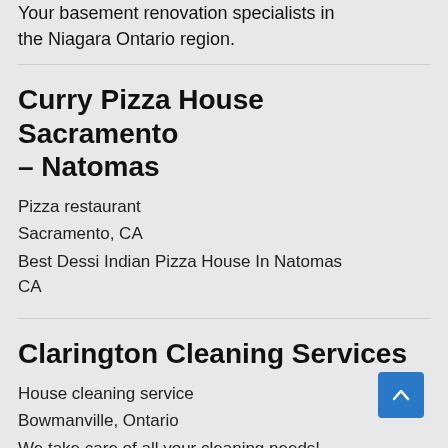Your basement renovation specialists in the Niagara Ontario region.
Curry Pizza House Sacramento – Natomas
Pizza restaurant
Sacramento, CA
Best Dessi Indian Pizza House In Natomas CA
Clarington Cleaning Services
House cleaning service
Bowmanville, Ontario
We take care of all your cleaning needs!